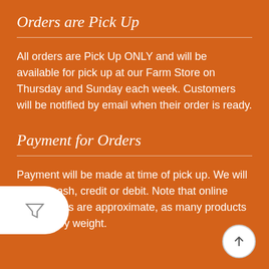Orders are Pick Up
All orders are Pick Up ONLY and will be available for pick up at our Farm Store on Thursday and Sunday each week. Customers will be notified by email when their order is ready.
Payment for Orders
Payment will be made at time of pick up. We will accept cash, credit or debit. Note that online order prices are approximate, as many products are sold by weight.